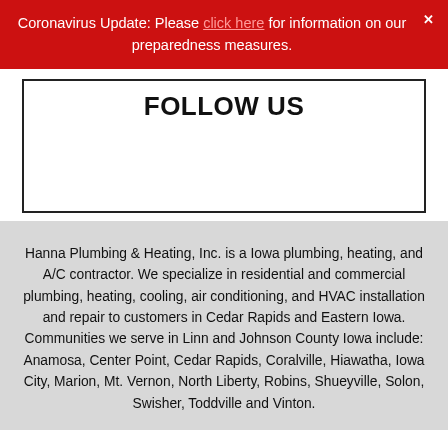Coronavirus Update: Please click here for information on our preparedness measures.
FOLLOW US
Hanna Plumbing & Heating, Inc. is a Iowa plumbing, heating, and A/C contractor. We specialize in residential and commercial plumbing, heating, cooling, air conditioning, and HVAC installation and repair to customers in Cedar Rapids and Eastern Iowa. Communities we serve in Linn and Johnson County Iowa include: Anamosa, Center Point, Cedar Rapids, Coralville, Hiawatha, Iowa City, Marion, Mt. Vernon, North Liberty, Robins, Shueyville, Solon, Swisher, Toddville and Vinton.